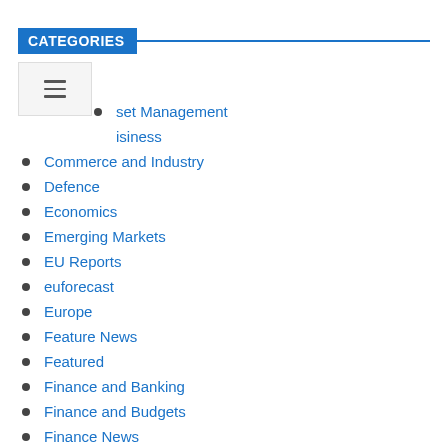CATEGORIES
Africa
Asset Management
Business
Commerce and Industry
Defence
Economics
Emerging Markets
EU Reports
euforecast
Europe
Feature News
Featured
Finance and Banking
Finance and Budgets
Finance News